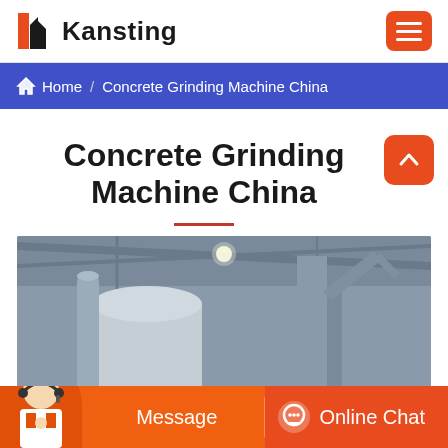Kansting
Home / Concrete Grinding Machine China
Concrete Grinding Machine China
[Figure (photo): Industrial concrete grinding machine equipment inside a large factory/warehouse building with metal pipes and silos visible]
Message   Online Chat